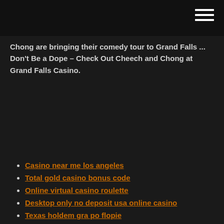Chong are bringing their comedy tour to Grand Falls ... Don't Be a Dope – Check Out Cheech and Chong at Grand Falls Casino.
Casino near me los angeles
Total gold casino bonus code
Online virtual casino roulette
Desktop only no deposit usa online casino
Texas holdem gra po flopie